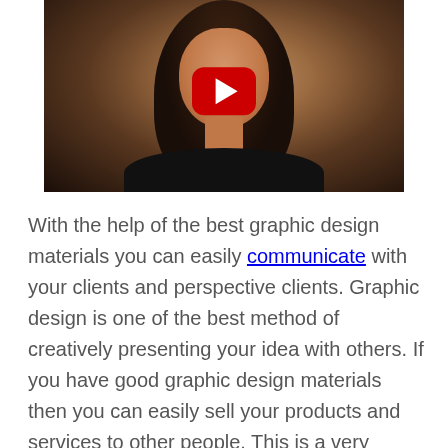[Figure (photo): A video thumbnail showing a woman with long brown hair speaking, wearing a dark top. A red YouTube play button is overlaid in the center of the image.]
With the help of the best graphic design materials you can easily communicate with your clients and perspective clients. Graphic design is one of the best method of creatively presenting your idea with others. If you have good graphic design materials then you can easily sell your products and services to other people. This is a very effective way to enhance your business. If you are you struggling to